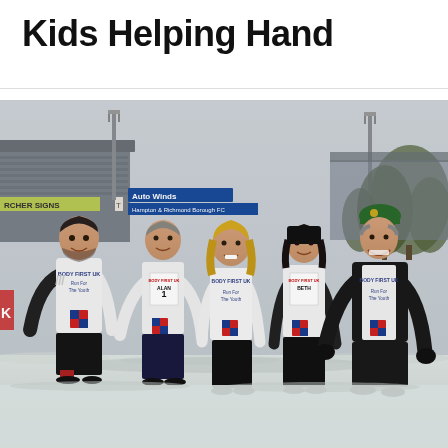Kids Helping Hand
[Figure (photo): Five adults posing together outdoors in a snowy setting at a football stadium (Hampton & Richmond Borough FC). They are wearing white t-shirts reading 'BODY FIRST UK - Run For The Youth' with race bibs. Background shows stadium stands with 'ARCHER SIGNS' and 'Auto Winds' signage, floodlight poles, and trees.]